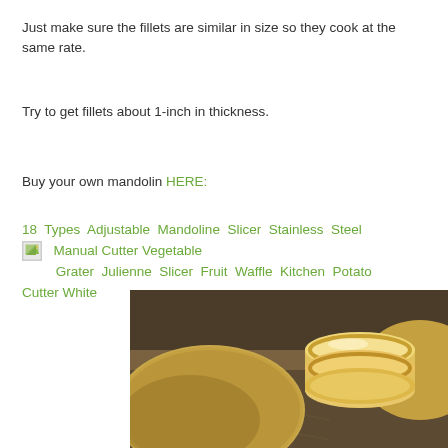Just make sure the fillets are similar in size so they cook at the same rate.
Try to get fillets about 1-inch in thickness.
Buy your own mandolin HERE:
18 Types Adjustable Mandoline Slicer Stainless Steel Manual Cutter Vegetable Grater Julienne Slicer Fruit Waffle Kitchen Potato Cutter White
[Figure (photo): Close-up photo of whole potatoes and sliced potato rounds on a burlap surface]